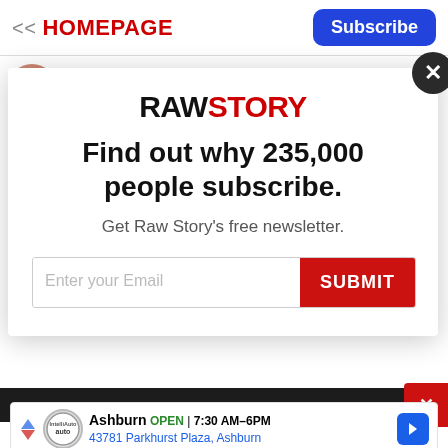<< HOMEPAGE
Subscribe
By Sarah K. Burris
Published August 28, 2022
[Figure (screenshot): Raw Story subscription modal popup with logo, headline 'Find out why 235,000 people subscribe.', subtext 'Get Raw Story's free newsletter.', email input field and red SUBMIT button, and a close X button in top right corner]
[Figure (screenshot): Advertisement banner for an auto service in Ashburn showing OPEN 7:30AM-6PM, 43781 Parkhurst Plaza, Ashburn with navigation arrow icon]